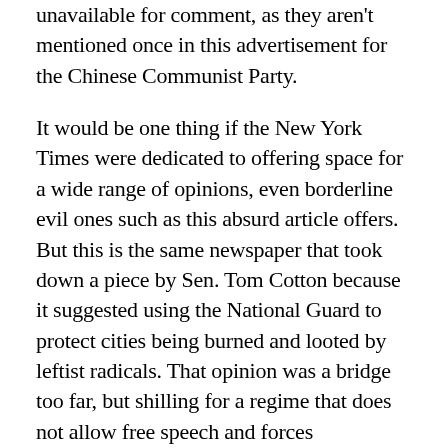unavailable for comment, as they aren't mentioned once in this advertisement for the Chinese Communist Party.
It would be one thing if the New York Times were dedicated to offering space for a wide range of opinions, even borderline evil ones such as this absurd article offers. But this is the same newspaper that took down a piece by Sen. Tom Cotton because it suggested using the National Guard to protect cities being burned and looted by leftist radicals. That opinion was a bridge too far, but shilling for a regime that does not allow free speech and forces sterilization is just asking questions.
Freedom from fear. My God. Is this what America has become? Are we ready to take the advice of our nation's most powerful newspaper and throw away our right to speech, religion, democracy, and family in the sad search for some impossible form of perfect safety? The behavior